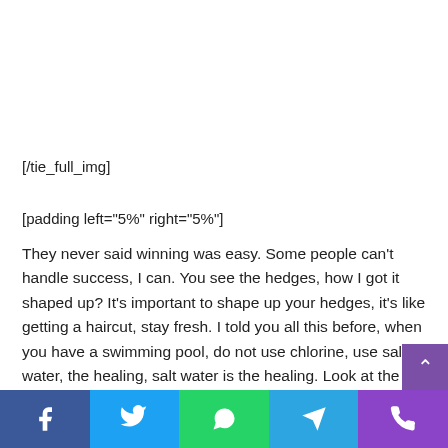[/tie_full_img]
[padding left="5%" right="5%"]
They never said winning was easy. Some people can't handle success, I can. You see the hedges, how I got it shaped up? It's important to shape up your hedges, it's like getting a haircut, stay fresh. I told you all this before, when you have a swimming pool, do not use chlorine, use salt water, the healing, salt water is the healing. Look at the sunset, life is amazing, life is beautiful, life is what you make it. Egg white
Facebook | Twitter | WhatsApp | Telegram | Phone